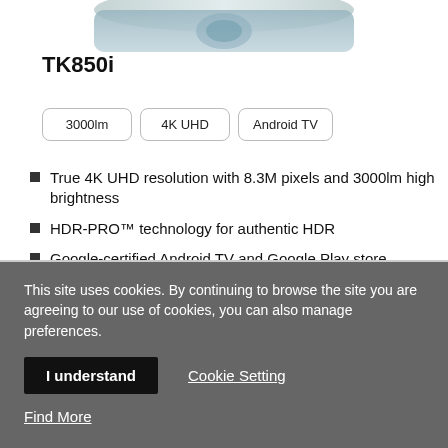[Figure (photo): Partial view of a BenQ TK850i projector, showing the top/side of the device against a white background]
TK850i
3000lm | 4K UHD | Android TV
True 4K UHD resolution with 8.3M pixels and 3000lm high brightness
HDR-PRO™ technology for authentic HDR
Google-certified Android TV and Google Play store
This site uses cookies. By continuing to browse the site you are agreeing to our use of cookies, you can also manage preferences.
I understand
Cookie Setting
Find More